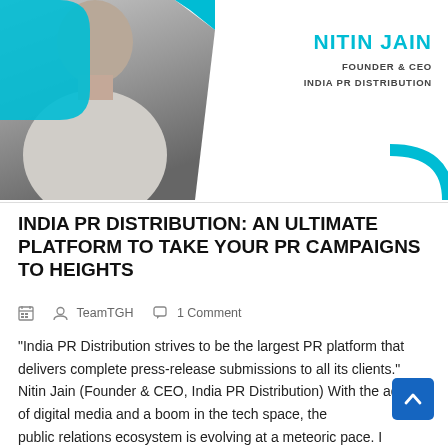[Figure (photo): Header banner with photo of Nitin Jain on a white/cyan background with name and title on the right]
INDIA PR DISTRIBUTION: AN ULTIMATE PLATFORM TO TAKE YOUR PR CAMPAIGNS TO HEIGHTS
📅  👤 TeamTGH  💬 1 Comment
"India PR Distribution strives to be the largest PR platform that delivers complete press-release submissions to all its clients." Nitin Jain (Founder & CEO, India PR Distribution) With the advent of digital media and a boom in the tech space, the public relations ecosystem is evolving at a meteoric pace. I rapidly growing economy [...]